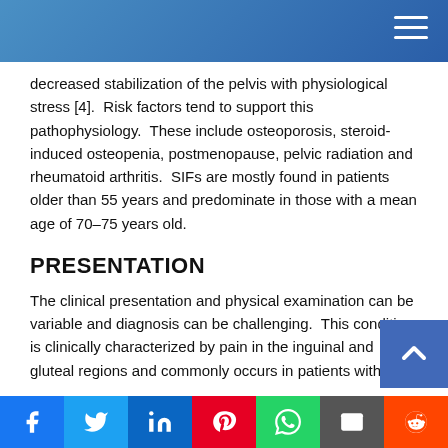decreased stabilization of the pelvis with physiological stress [4].  Risk factors tend to support this pathophysiology.  These include osteoporosis, steroid-induced osteopenia, postmenopause, pelvic radiation and rheumatoid arthritis.  SIFs are mostly found in patients older than 55 years and predominate in those with a mean age of 70–75 years old.
PRESENTATION
The clinical presentation and physical examination can be variable and diagnosis can be challenging.  This condition is clinically characterized by pain in the inguinal and gluteal regions and commonly occurs in patients with no trauma or minor trauma resulting from a fall.  It does fall unde...
f  Twitter  in  Pinterest  WhatsApp  Email  Reddit